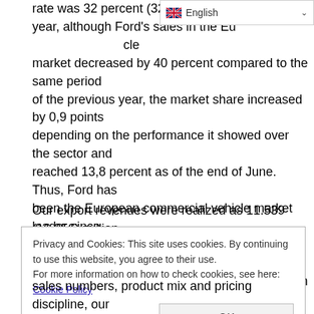rate was 32 percent (32 percent); in the year, although Ford's sales in the European commercial vehicle market decreased by 40 percent compared to the same period of the previous year, the market share increased by 0,9 points depending on the performance it showed over the sector and reached 13,8 percent as of the end of June. Thus, Ford has been the European commercial vehicle market leader since 2015. In this period, 84 percent of the transit family vehicles sold in Europe were produced by Ford Otosan. In the first half, the export volume of Ford Otosan decreased by 43 percent annually due to the contraction in the market and Ford's sales, and reached 96.452 (168.148).
Our export revenues were realized as 11.539 (16.056) million
Privacy and Cookies: This site uses cookies. By continuing to use this website, you agree to their use.
For more information on how to check cookies, see here: Cookie Policy
sales numbers, product mix and pricing discipline, our